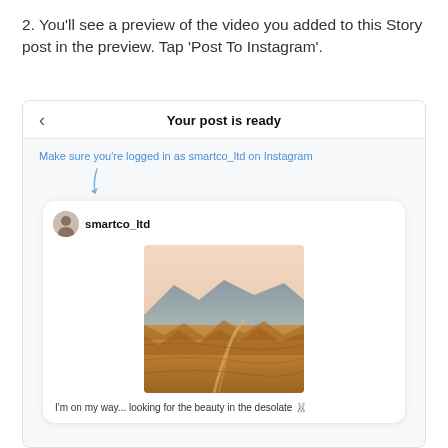2. You'll see a preview of the video you added to this Story post in the preview. Tap 'Post To Instagram'.
[Figure (screenshot): Screenshot of a posting interface showing 'Your post is ready' header with back arrow, a note in blue text 'Make sure you're logged in as smartco_ltd on Instagram' with a curved arrow pointing down, a post preview card showing the smartco_ltd username with avatar, a desert landscape photo (Death Valley style eroded hills), and partial caption text 'I'm on my way... looking for the beauty in the desolate']